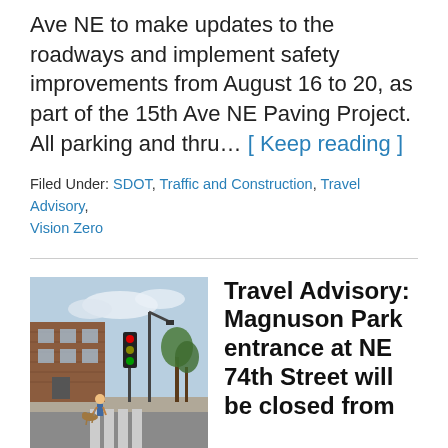Ave NE to make updates to the roadways and implement safety improvements from August 16 to 20, as part of the 15th Ave NE Paving Project. All parking and thru… [ Keep reading ]
Filed Under: SDOT, Traffic and Construction, Travel Advisory, Vision Zero
[Figure (photo): Street scene with a traffic light, brick building, and a person walking a dog across an intersection]
Travel Advisory: Magnuson Park entrance at NE 74th Street will be closed from August 9 to 27
August 5, 2021